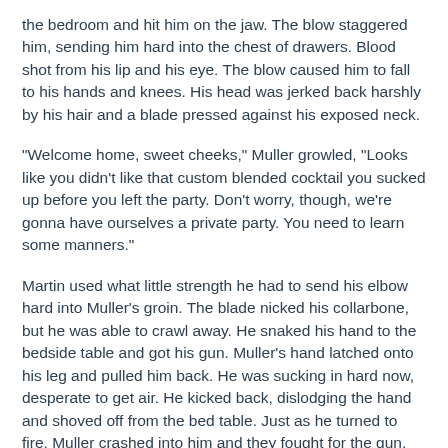the bedroom and hit him on the jaw. The blow staggered him, sending him hard into the chest of drawers. Blood shot from his lip and his eye. The blow caused him to fall to his hands and knees. His head was jerked back harshly by his hair and a blade pressed against his exposed neck.
"Welcome home, sweet cheeks," Muller growled, "Looks like you didn't like that custom blended cocktail you sucked up before you left the party. Don't worry, though, we're gonna have ourselves a private party. You need to learn some manners."
Martin used what little strength he had to send his elbow hard into Muller's groin. The blade nicked his collarbone, but he was able to crawl away. He snaked his hand to the bedside table and got his gun. Muller's hand latched onto his leg and pulled him back. He was sucking in hard now, desperate to get air. He kicked back, dislodging the hand and shoved off from the bed table. Just as he turned to fire, Muller crashed into him and they fought for the gun. Then a shot rang out and all was still